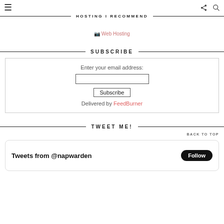☰  [share] [search]
HOSTING I RECOMMEND
[Figure (other): Web Hosting image link (broken image placeholder)]
SUBSCRIBE
Enter your email address:
[email input box]
[Subscribe button]
Delivered by FeedBurner
TWEET ME!
BACK TO TOP
Tweets from @napwarden   [Follow]